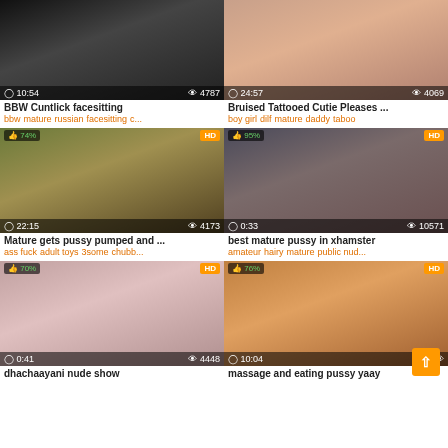[Figure (screenshot): Video thumbnail grid of adult content videos with titles, tags, view counts and durations]
BBW Cuntlick facesitting
bbw mature russian facesitting c...
Bruised Tattooed Cutie Pleases ...
boy girl dilf mature daddy taboo
Mature gets pussy pumped and ...
ass fuck adult toys 3some chubb...
best mature pussy in xhamster
amateur hairy mature public nud...
dhachaayani nude show
massage and eating pussy yaay